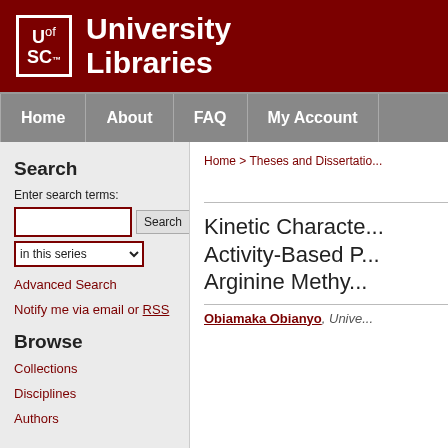[Figure (logo): University of South Carolina University Libraries logo on dark red banner]
University Libraries
Home | About | FAQ | My Account
Search
Enter search terms:
in this series
Advanced Search
Notify me via email or RSS
Browse
Collections
Disciplines
Authors
Home > Theses and Dissertatio...
Kinetic Characte... Activity-Based P... Arginine Methy...
Obiamaka Obianyo, Unive...